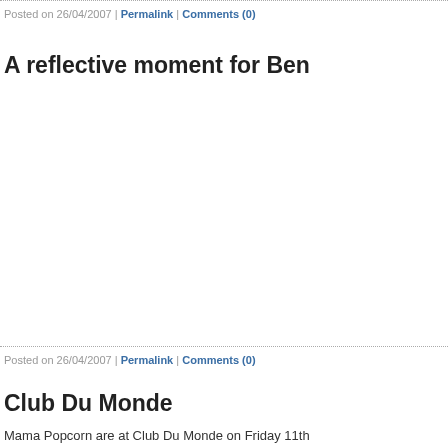Posted on 26/04/2007 | Permalink | Comments (0)
A reflective moment for Ben
Posted on 26/04/2007 | Permalink | Comments (0)
Club Du Monde
Mama Popcorn are at Club Du Monde on Friday 11th